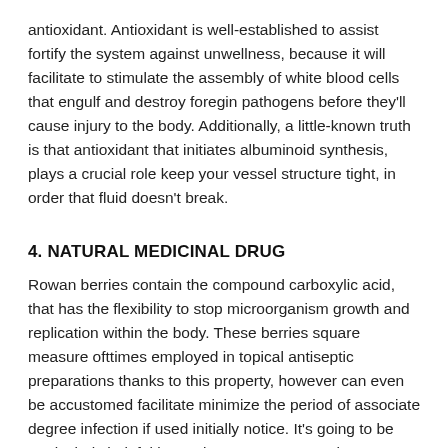antioxidant. Antioxidant is well-established to assist fortify the system against unwellness, because it will facilitate to stimulate the assembly of white blood cells that engulf and destroy foregin pathogens before they'll cause injury to the body. Additionally, a little-known truth is that antioxidant that initiates albuminoid synthesis, plays a crucial role keep your vessel structure tight, in order that fluid doesn't break.
4. NATURAL MEDICINAL DRUG
Rowan berries contain the compound carboxylic acid, that has the flexibility to stop microorganism growth and replication within the body. These berries square measure ofttimes employed in topical antiseptic preparations thanks to this property, however can even be accustomed facilitate minimize the period of associate degree infection if used initially notice. It's going to be particularly helpful in serving to to treat sore throat.